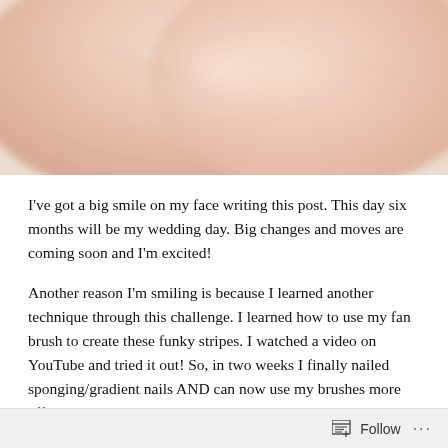[Figure (photo): Close-up blurry photo of fingers/skin, pinkish skin tones with soft focus]
I've got a big smile on my face writing this post. This day six months will be my wedding day. Big changes and moves are coming soon and I'm excited!
Another reason I'm smiling is because I learned another technique through this challenge. I learned how to use my fan brush to create these funky stripes. I watched a video on YouTube and tried it out! So, in two weeks I finally nailed sponging/gradient nails AND can now use my brushes more effectively! I can't wait to do this manicure again with different colors! I really love this effect!
Follow ...